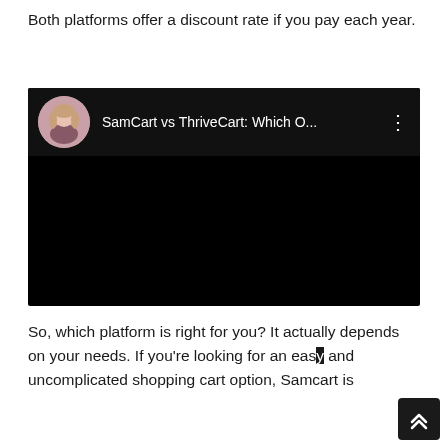Both platforms offer a discount rate if you pay each year.
[Figure (screenshot): Embedded YouTube video thumbnail showing SamCart vs ThriveCart: Which O... with a female presenter avatar on the left and a three-dot menu on the right, against a black background.]
So, which platform is right for you? It actually depends on your needs. If you're looking for an easy and uncomplicated shopping cart option, Samcart is